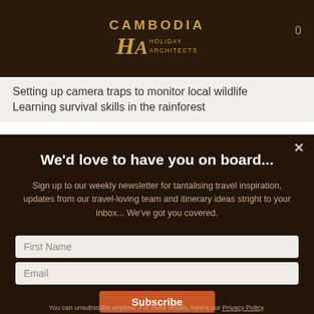CAMBODIA HOLIDAY ARCHITECTS
Setting up camera traps to monitor local wildlife
Learning survival skills in the rainforest
We'd love to have you on board...
Sign up to our weekly newsletter for tantalising travel inspiration, updates from our travel-loving team and itinerary ideas stright to your inbox... We've got you covered.
First Name
Email
Subscribe
You can unsubscribe anytime. For more details, here's our Privacy Policy.